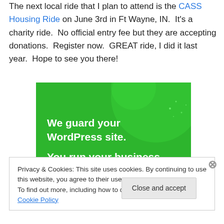The next local ride that I plan to attend is the CASS Housing Ride on June 3rd in Ft Wayne, IN.  It's a charity ride.  No official entry fee but they are accepting donations.  Register now.  GREAT ride, I did it last year.  Hope to see you there!
[Figure (illustration): Green advertisement banner with text 'We guard your WordPress site. You run your business.' on a green background with decorative circles.]
Privacy & Cookies: This site uses cookies. By continuing to use this website, you agree to their use.
To find out more, including how to control cookies, see here: Cookie Policy